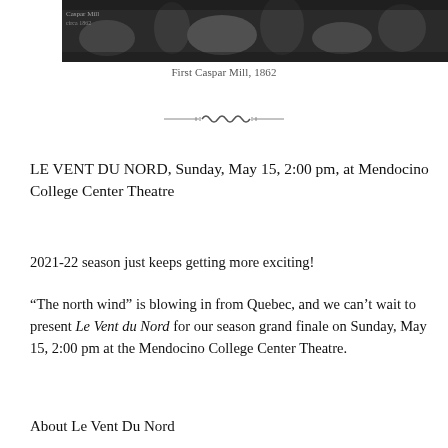[Figure (photo): Black and white historical photograph of the First Caspar Mill, 1862]
First Caspar Mill, 1862
[Figure (illustration): Decorative horizontal divider with ornamental scrollwork]
LE VENT DU NORD, Sunday, May 15, 2:00 pm, at Mendocino College Center Theatre
2021-22 season just keeps getting more exciting!
“The north wind” is blowing in from Quebec, and we can’t wait to present Le Vent du Nord for our season grand finale on Sunday, May 15, 2:00 pm at the Mendocino College Center Theatre.
About Le Vent Du Nord